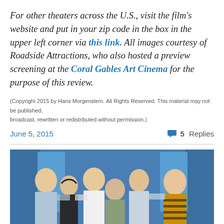For other theaters across the U.S., visit the film's website and put in your zip code in the box in the upper left corner via this link. All images courtesy of Roadside Attractions, who also hosted a preview screening at the Coral Gables Art Cinema for the purpose of this review.
(Copyright 2015 by Hans Morgenstern. All Rights Reserved. This material may not be published, broadcast, rewritten or redistributed without permission.)
June 5, 2015   5 Replies
[Figure (photo): Group photo of six young men with blonde/light hair posed together against a blue background, appearing to be a film-related promotional image.]